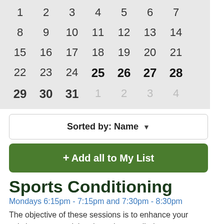[Figure (other): Calendar grid showing dates 1-31 with days 1-24 in light gray, 25-28 in bold black, 29-31 in dark gray, and 1-4 in light gray for the next month]
Sorted by: Name ▼
+ Add all to My List
Sports Conditioning
Mondays 6:15pm - 7:15pm and 7:30pm - 8:30pm
The objective of these sessions is to enhance your existing sports training through controlled stren....
The Studio Barn, St. Marys Road, Manto